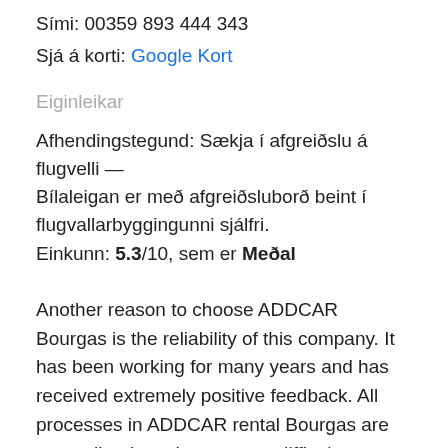Sími:  00359 893 444 343
Sjá á korti:  Google Kort
Eiginleikar
Afhendingstegund:  Sækja í afgreiðslu á flugvelli — Bílaleigan er með afgreiðsluborð beint í flugvallarbyggingunni sjálfri.
Einkunn:  5.3/10, sem er Meðal
Another reason to choose ADDCAR Bourgas is the reliability of this company. It has been working for many years and has received extremely positive feedback. All processes in ADDCAR rental Bourgas are streamlined, so there are no difficult situations. From the very moment of booking a car to receiving the keys, all stages are simple and straightforward. The selected car will always be